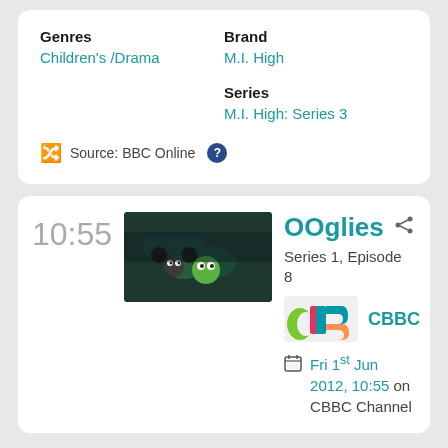Genres
Children's /Drama
Brand
M.I. High
Series
M.I. High: Series 3
Source: BBC Online ?
10:55
[Figure (photo): Photo of OOglies characters - small creature figures with googly eyes on a table with a car in background]
OOglies
Series 1, Episode 8
[Figure (logo): CBBC channel logo - colorful logo with green, pink, blue and orange shapes]
CBBC
Fri 1st Jun 2012, 10:55 on CBBC Channel